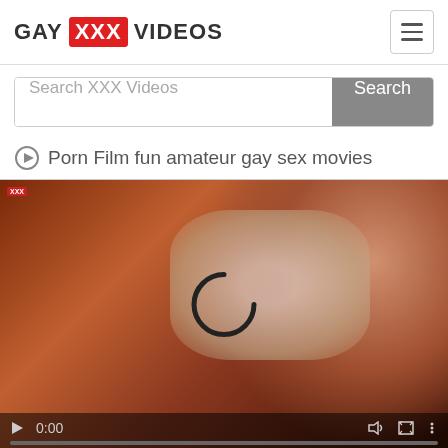GAY XXX VIDEOS
Search XXX Videos
Porn Film fun amateur gay sex movies
[Figure (screenshot): Video player thumbnail showing a dimly lit intimate scene with a loading spinner overlay, timestamp 0:00, and playback controls at the bottom including play button, volume, fullscreen, and menu icons.]